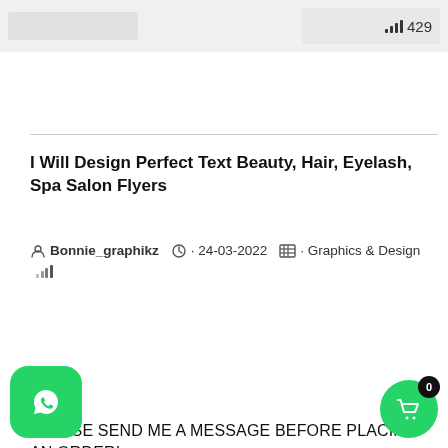429
I Will Design Perfect Text Beauty, Hair, Eyelash, Spa Salon Flyers
Bonnie_graphikz · 24-03-2022 · Graphics & Design
Hi,
PLEASE SEND ME A MESSAGE BEFORE PLACING AN ORDER!